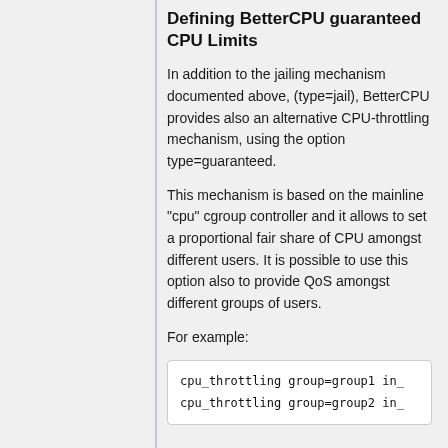Defining BetterCPU guaranteed CPU Limits
In addition to the jailing mechanism documented above, (type=jail), BetterCPU provides also an alternative CPU-throttling mechanism, using the option type=guaranteed.
This mechanism is based on the mainline "cpu" cgroup controller and it allows to set a proportional fair share of CPU amongst different users. It is possible to use this option also to provide QoS amongst different groups of users.
For example:
cpu_throttling group=group1 in_
cpu_throttling group=group2 in_